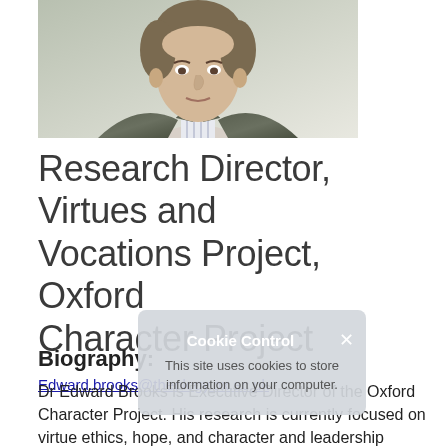[Figure (photo): Headshot photograph of Dr Edward Brooks, a man in a grey suit jacket and striped shirt, photographed against a light background.]
Research Director, Virtues and Vocations Project, Oxford Character Project
Edward.brooks@theology.ox.ac.uk
Biography:
Dr Edward Brooks is Executive Director of the Oxford Character Project. His research is currently focused on virtue ethics, hope, and character and leadership development. Particular interests include the relationship between character and culture in